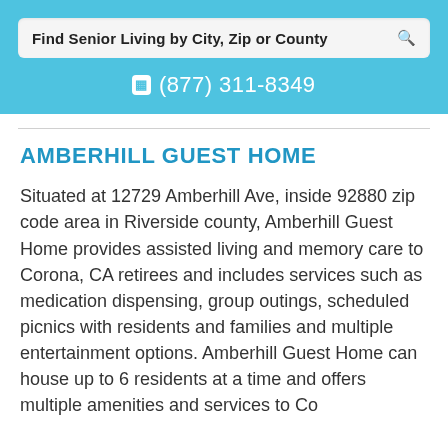[Figure (screenshot): Search bar with text 'Find Senior Living by City, Zip or County' and a search icon on a light gray background]
☎ (877) 311-8349
AMBERHILL GUEST HOME
Situated at 12729 Amberhill Ave, inside 92880 zip code area in Riverside county, Amberhill Guest Home provides assisted living and memory care to Corona, CA retirees and includes services such as medication dispensing, group outings, scheduled picnics with residents and families and multiple entertainment options. Amberhill Guest Home can house up to 6 residents at a time and offers multiple amenities and services to Corona residents.